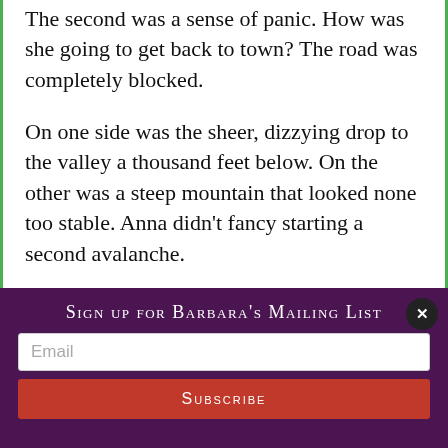The second was a sense of panic. How was she going to get back to town? The road was completely blocked.
On one side was the sheer, dizzying drop to the valley a thousand feet below. On the other was a steep mountain that looked none too stable. Anna didn't fancy starting a second avalanche.
Going over the top of the mess was impossible, though she seriously
Sign up for Barbara's Mailing List